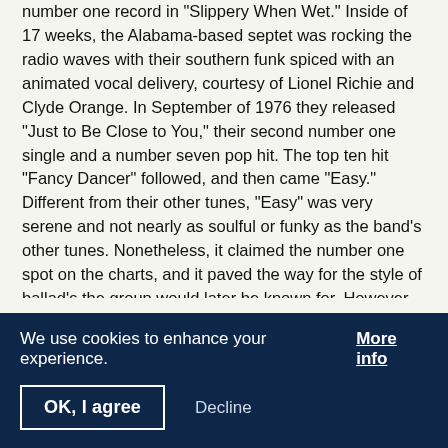number one record in "Slippery When Wet." Inside of 17 weeks, the Alabama-based septet was rocking the radio waves with their southern funk spiced with an animated vocal delivery, courtesy of Lionel Richie and Clyde Orange. In September of 1976 they released "Just to Be Close to You," their second number one single and a number seven pop hit. The top ten hit "Fancy Dancer" followed, and then came "Easy." Different from their other tunes, "Easy" was very serene and not nearly as soulful or funky as the band's other tunes. Nonetheless, it claimed the number one spot on the charts, and it paved the way for the style of ballad's the group would later be known for. However, soul and funk was still very much present in spite of the benevolent rhythms of "Easy." This was demonstrated with the release of what would become the group's anthem, "Brickhouse." The arrangement and candid vocal lead by Clyde Orange is complemented by the evenly saturated percussive and rhythmic attack It cracked the top ten at number four. The irony is that "Brickhouse" was the last song recorded for
We use cookies to enhance your experience.  More info
OK, I agree    Decline